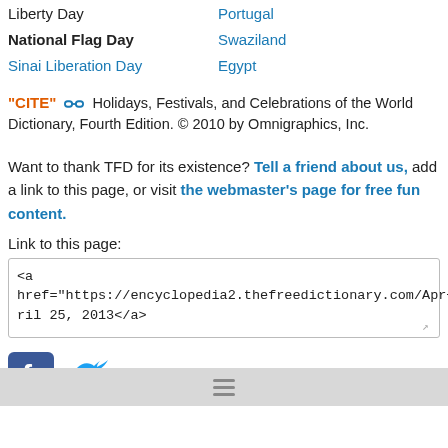Liberty Day | Portugal
National Flag Day | Swaziland
Sinai Liberation Day | Egypt
"CITE" [link icon]  Holidays, Festivals, and Celebrations of the World Dictionary, Fourth Edition. © 2010 by Omnigraphics, Inc.
Want to thank TFD for its existence? Tell a friend about us, add a link to this page, or visit the webmaster's page for free fun content.
Link to this page:
<a
href="https://encyclopedia2.thefreedictionary.com/Apr+25%2c+2013">April 25, 2013</a>
[Figure (logo): Facebook logo icon (blue square with white f)]
[Figure (logo): Twitter logo icon (blue bird)]